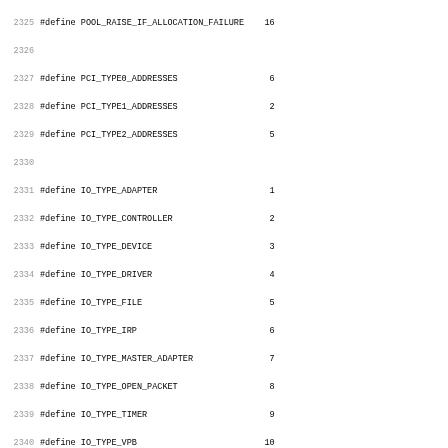Source code listing showing C preprocessor #define constants for PCI types, IO types, IO resource descriptors, and device object flags. Line numbers 2325-2356.